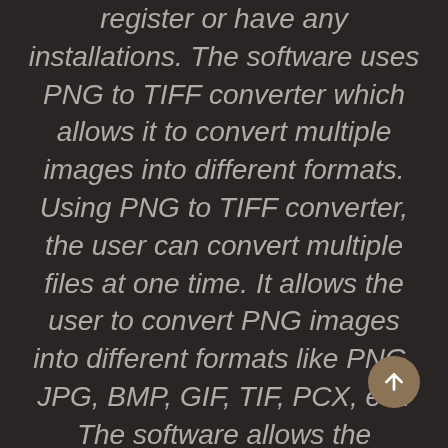register or have any installations. The software uses PNG to TIFF converter which allows it to convert multiple images into different formats. Using PNG to TIFF converter, the user can convert multiple files at one time. It allows the user to convert PNG images into different formats like PNG, JPG, BMP, GIF, TIF, PCX, etc. The software allows the